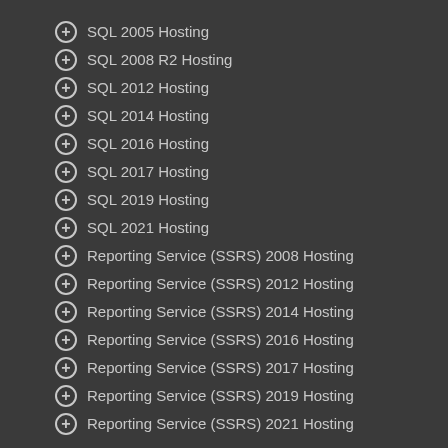SQL 2005 Hosting
SQL 2008 R2 Hosting
SQL 2012 Hosting
SQL 2014 Hosting
SQL 2016 Hosting
SQL 2017 Hosting
SQL 2019 Hosting
SQL 2021 Hosting
Reporting Service (SSRS) 2008 Hosting
Reporting Service (SSRS) 2012 Hosting
Reporting Service (SSRS) 2014 Hosting
Reporting Service (SSRS) 2016 Hosting
Reporting Service (SSRS) 2017 Hosting
Reporting Service (SSRS) 2019 Hosting
Reporting Service (SSRS) 2021 Hosting
Other Supported Applications
AngularJS 1.7.2 Hosting
Angular 6 Hosting
Blazor Hosting
Crystal Report 2010 Hosting
Crystal Report 2013 Hosting